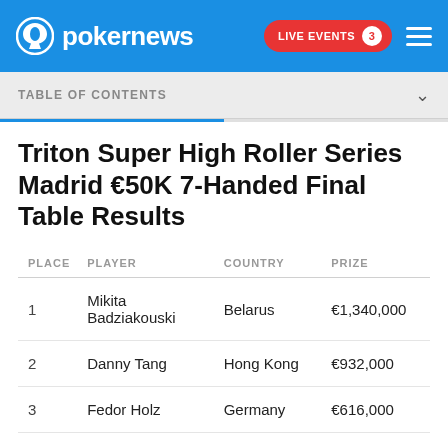pokernews — LIVE EVENTS 3
TABLE OF CONTENTS
Triton Super High Roller Series Madrid €50K 7-Handed Final Table Results
| PLACE | PLAYER | COUNTRY | PRIZE |
| --- | --- | --- | --- |
| 1 | Mikita Badziakouski | Belarus | €1,340,000 |
| 2 | Danny Tang | Hong Kong | €932,000 |
| 3 | Fedor Holz | Germany | €616,000 |
| 4 | Mike Watson | Canada | €482,300 |
| 5 | … | Netherlands | €330,000 |